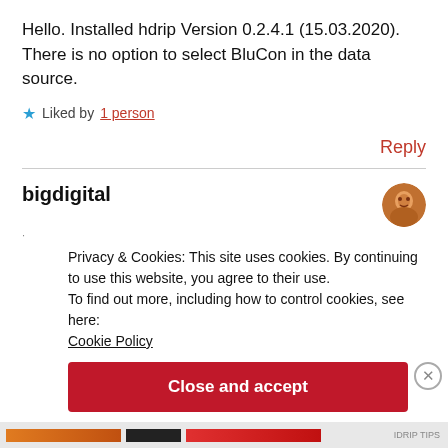Hello. Installed hdrip Version 0.2.4.1 (15.03.2020). There is no option to select BluCon in the data source.
★ Liked by 1 person
Reply
bigdigital
Privacy & Cookies: This site uses cookies. By continuing to use this website, you agree to their use.
To find out more, including how to control cookies, see here:
Cookie Policy
Close and accept